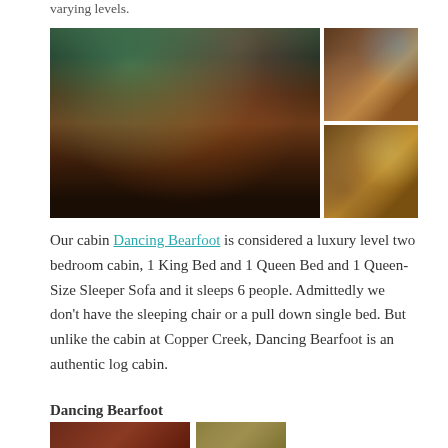varying levels.
[Figure (photo): Three photos of Dancing Bearfoot cabin: large exterior shot of log cabin at dusk with pink sky and trees, top right interior bedroom with log walls and red bedding, bottom right interior living room with stone fireplace and wood floors.]
Our cabin Dancing Bearfoot is considered a luxury level two bedroom cabin, 1 King Bed and 1 Queen Bed and 1 Queen-Size Sleeper Sofa and it sleeps 6 people. Admittedly we don't have the sleeping chair or a pull down single bed. But unlike the cabin at Copper Creek, Dancing Bearfoot is an authentic log cabin.
Dancing Bearfoot